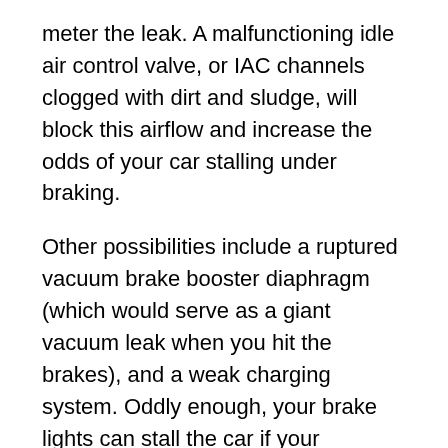meter the leak. A malfunctioning idle air control valve, or IAC channels clogged with dirt and sludge, will block this airflow and increase the odds of your car stalling under braking.
Other possibilities include a ruptured vacuum brake booster diaphragm (which would serve as a giant vacuum leak when you hit the brakes), and a weak charging system. Oddly enough, your brake lights can stall the car if your charging system is weak because they suck power that should otherwise go to the car's ignition system.
Over- or Under-heating: Your car's coolant system is responsible for shedding engine heat by transporting water in the engine block to the radiator. Three things can cause overheating: Not enough airflow over the radiator...